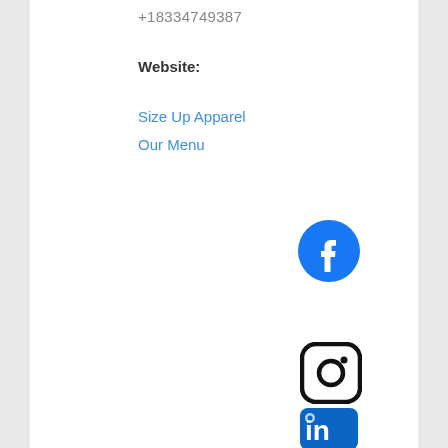+18334749387
Website:
Size Up Apparel
Our Menu
[Figure (logo): Facebook logo - blue circle with white 'f' icon]
[Figure (logo): Instagram logo - rounded square outline with circle and dot]
[Figure (logo): LinkedIn logo - blue rounded rectangle with white 'in' icon, partially visible]